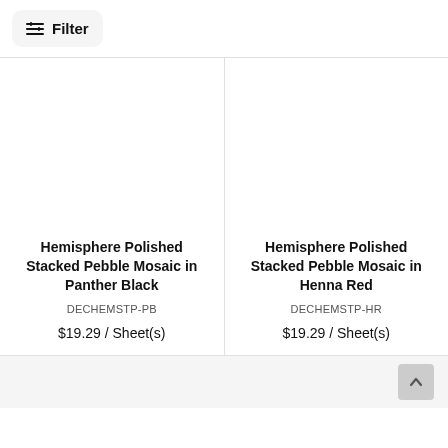Filter
Hemisphere Polished Stacked Pebble Mosaic in Panther Black
DECHEMSTP-PB
$19.29 / Sheet(s)
Hemisphere Polished Stacked Pebble Mosaic in Henna Red
DECHEMSTP-HR
$19.29 / Sheet(s)